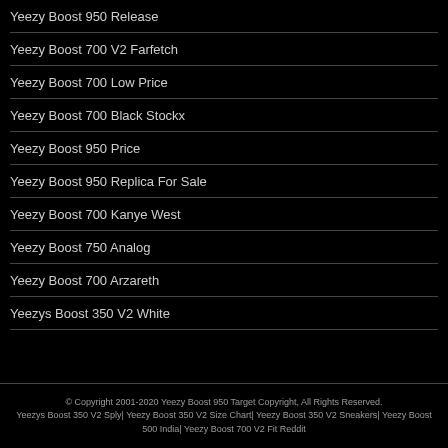Yeezy Boost 950 Release
Yeezy Boost 700 V2 Farfetch
Yeezy Boost 700 Low Price
Yeezy Boost 700 Black Stockx
Yeezy Boost 950 Price
Yeezy Boost 950 Replica For Sale
Yeezy Boost 700 Kanye West
Yeezy Boost 750 Analog
Yeezy Boost 700 Arzareth
Yeezys Boost 350 V2 White
© Copyright 2001-2020 Yeezy Boost 950 Target Copyright, All Rights Reserved. Yeezys Boost 350 V2 Sply| Yeezy Boost 350 V2 Size Chart| Yeezy Boost 350 V2 Sneakers| Yeezy Boost 500 India| Yeezy Boost 700 V2 Fit Reddit